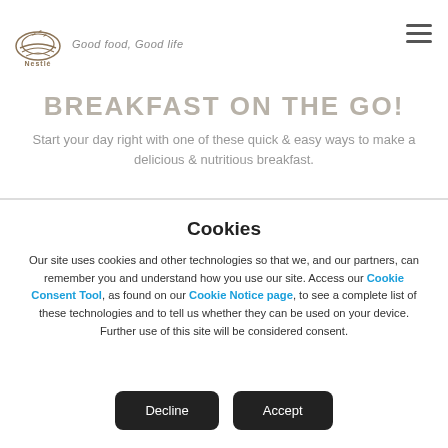Nestlé Good food, Good life
BREAKFAST ON THE GO!
Start your day right with one of these quick & easy ways to make a delicious & nutritious breakfast.
Cookies
Our site uses cookies and other technologies so that we, and our partners, can remember you and understand how you use our site. Access our Cookie Consent Tool, as found on our Cookie Notice page, to see a complete list of these technologies and to tell us whether they can be used on your device. Further use of this site will be considered consent.
Decline | Accept